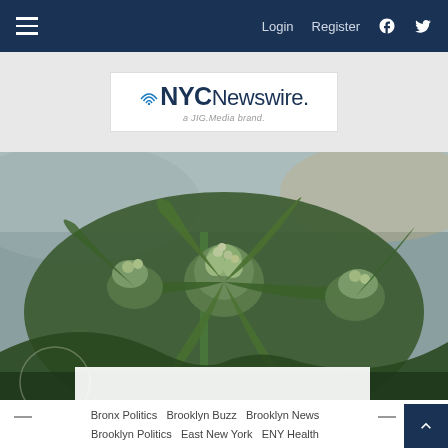≡  Login  Register  f  🐦
[Figure (logo): NYCNewswire logo with wifi signal icon, subtitle 'a JIG.Media brand.']
[Figure (photo): Close-up photo of cannabis plant with green buds and leaves, blurred background]
Bronx Politics  Brooklyn Buzz  Brooklyn News  Brooklyn Politics  East New York  ENY Health  ENY Politics  Health  Health Care  Health Food